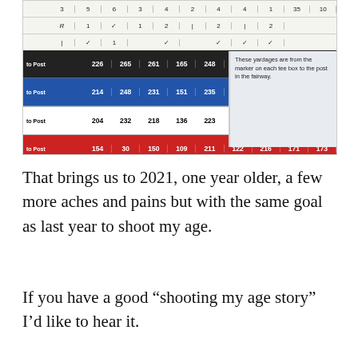[Figure (photo): A photograph of a golf scorecard showing yardage rows for different tee colors (black, blue, white, red) with distances: black row 226 265 261 165 248 198 244 261 264; blue row 214 248 231 151 235 183 235 241 239; white row 204 232 218 136 223 155 225 229 219; red row 154 30 150 109 211 122 216 171 173; handicap row 12/14 4/18 2/2 16/16 6/6 10/10 14/8 18/12 8/4. A note box reads: These yardages are from the marker on each tee box to the post in the fairway. Handwritten scores visible at top of scorecard.]
That brings us to 2021, one year older, a few more aches and pains but with the same goal as last year to shoot my age.
If you have a good “shooting my age story” I’d like to hear it.